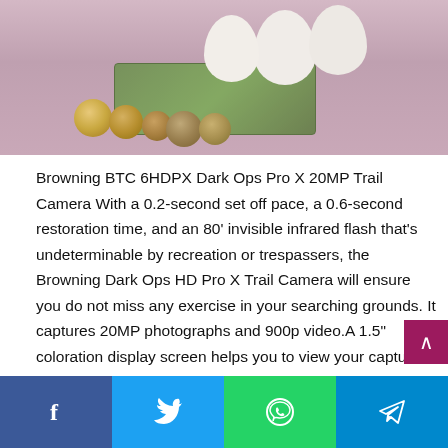[Figure (photo): Photo of eggs, coins, and a dollar bill on a pink/mauve background, partially cropped at the top of the page]
Browning BTC 6HDPX Dark Ops Pro X 20MP Trail Camera With a 0.2-second set off pace, a 0.6-second restoration time, and an 80' invisible infrared flash that's undeterminable by recreation or trespassers, the Browning Dark Ops HD Pro X Trail Camera will ensure you do not miss any exercise in your searching grounds. It captures 20MP photographs and 900p video.A 1.5" coloration display screen helps you to view your captures on the digicam, with out having to drag the recall card. The Dark Ops HD Pro X can discover motion as a lot like 80' away. Browning's Illuma-Sensible know-how adjusts the flash on particular mortal photographs for best photograph
[Figure (screenshot): Social media share bar at the bottom with Facebook, Twitter, WhatsApp, and Telegram buttons]